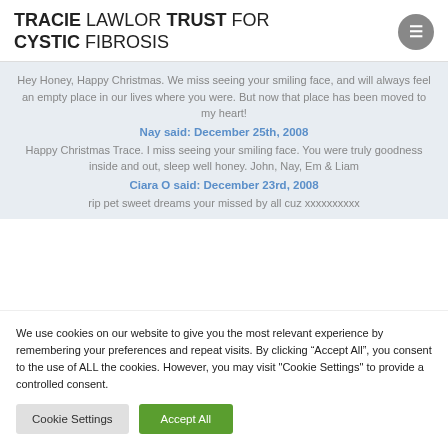TRACIE LAWLOR TRUST FOR CYSTIC FIBROSIS
Hey Honey, Happy Christmas. We miss seeing your smiling face, and will always feel an empty place in our lives where you were. But now that place has been moved to my heart!
Nay said: December 25th, 2008
Happy Christmas Trace. I miss seeing your smiling face. You were truly goodness inside and out, sleep well honey. John, Nay, Em & Liam
Ciara O said: December 23rd, 2008
rip pet sweet dreams your missed by all cuz xxxxxxxxxx
We use cookies on our website to give you the most relevant experience by remembering your preferences and repeat visits. By clicking “Accept All”, you consent to the use of ALL the cookies. However, you may visit "Cookie Settings" to provide a controlled consent.